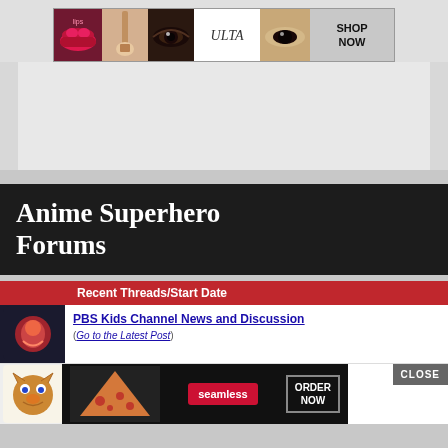[Figure (photo): Ulta Beauty advertisement banner with makeup images (lips, eye, brush, face) and SHOP NOW button]
[Figure (screenshot): Gray/white background area below Ulta ad, large empty ad space]
Anime Superhero Forums
| Recent Threads/Start Date |
| --- |
| PBS Kids Channel News and Discussion (Go to the Latest Post) |
| [partial thread row with Seamless food ad overlay] |
[Figure (photo): Seamless food delivery advertisement overlay showing pizza slices with ORDER NOW button and CLOSE button]